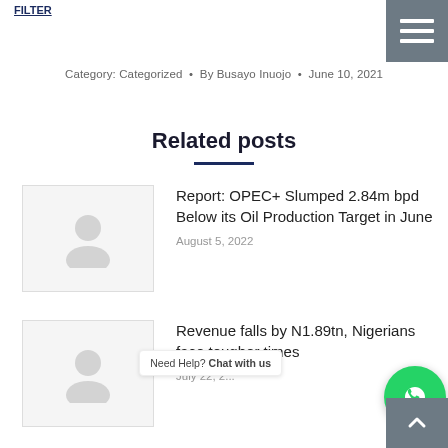Category: Categorized • By Busayo Inuojo • June 10, 2021
Related posts
Report: OPEC+ Slumped 2.84m bpd Below its Oil Production Target in June
August 5, 2022
Revenue falls by N1.89tn, Nigerians face tougher times
July 22, 2...
[Figure (other): WhatsApp chat help button with tooltip 'Need Help? Chat with us']